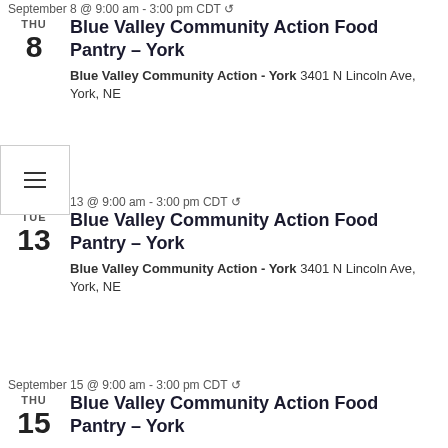September 8 @ 9:00 am - 3:00 pm CDT ↺
Blue Valley Community Action Food Pantry – York
Blue Valley Community Action - York 3401 N Lincoln Ave, York, NE
September 13 @ 9:00 am - 3:00 pm CDT ↺
Blue Valley Community Action Food Pantry – York
Blue Valley Community Action - York 3401 N Lincoln Ave, York, NE
September 15 @ 9:00 am - 3:00 pm CDT ↺
Blue Valley Community Action Food Pantry – York